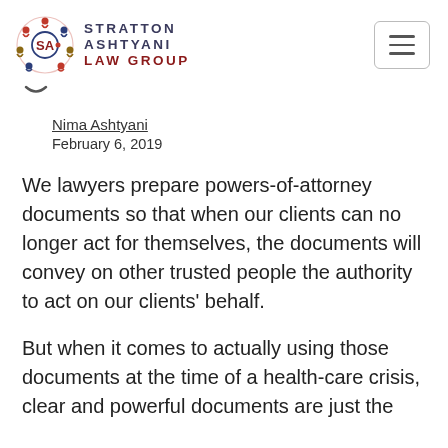Stratton Ashtyani Law Group
Nima Ashtyani
February 6, 2019
We lawyers prepare powers-of-attorney documents so that when our clients can no longer act for themselves, the documents will convey on other trusted people the authority to act on our clients' behalf.
But when it comes to actually using those documents at the time of a health-care crisis, clear and powerful documents are just the